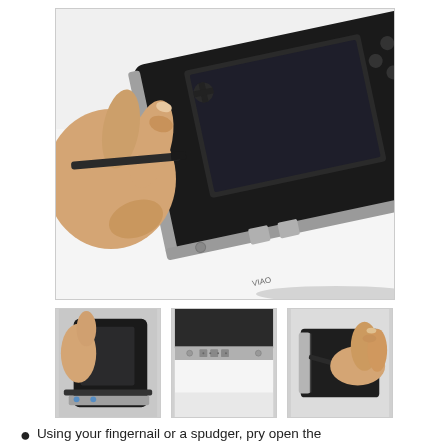[Figure (photo): Large photo showing a hand using a spudger or fingernail tool to pry open the side of a PSP gaming device. The PSP is shown at an angle on a white surface, with its screen, buttons, and silver side trim visible.]
[Figure (photo): Thumbnail photo 1: Close-up of a tool prying along the edge of a PSP gaming device screen bezel, viewed from above.]
[Figure (photo): Thumbnail photo 2: Close-up of the bottom edge of a PSP gaming device showing ports and small screw holes in the silver trim.]
[Figure (photo): Thumbnail photo 3: Close-up of a hand using a tool to pry open the side trim of a PSP gaming device.]
Using your fingernail or a spudger, pry open the